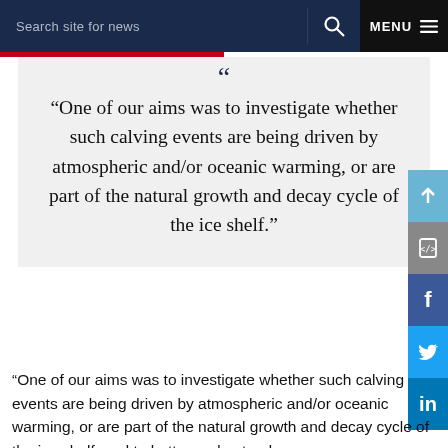Search site for news   Q   MENU
“One of our aims was to investigate whether such calving events are being driven by atmospheric and/or oceanic warming, or are part of the natural growth and decay cycle of the ice shelf.”
“One of our aims was to investigate whether such calving events are being driven by atmospheric and/or oceanic warming, or are part of the natural growth and decay cycle of the ice shelf, and to better understand